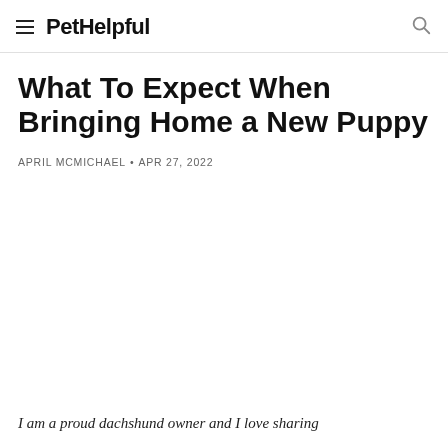PetHelpful
What To Expect When Bringing Home a New Puppy
APRIL MCMICHAEL • APR 27, 2022
I am a proud dachshund owner and I love sharing